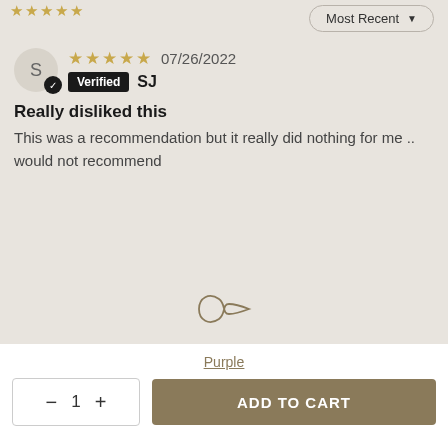[Figure (other): Dropdown sort selector showing 'Most Recent' with a downward arrow, and partial star rating elements at the top left]
07/26/2022
Verified SJ
Really disliked this
This was a recommendation but it really did nothing for me .. would not recommend
[Figure (logo): Infinity symbol logo]
Purple
- 1 + ADD TO CART